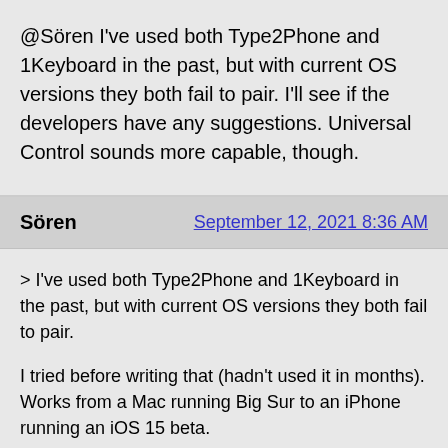@Sören I've used both Type2Phone and 1Keyboard in the past, but with current OS versions they both fail to pair. I'll see if the developers have any suggestions. Universal Control sounds more capable, though.
Sören
September 12, 2021 8:36 AM
> I've used both Type2Phone and 1Keyboard in the past, but with current OS versions they both fail to pair.
I tried before writing that (hadn't used it in months). Works from a Mac running Big Sur to an iPhone running an iOS 15 beta.
>Universal Control sounds more capable, though.
Absolutely. Best as I can tell, this is the first time you can somewhat "remotely" control an iOS/iPadOS screen...